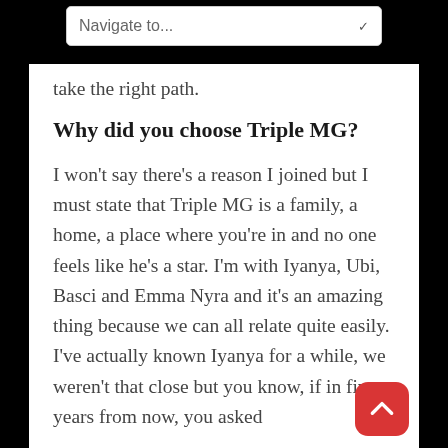Navigate to...
take the right path.
Why did you choose Triple MG?
I won't say there's a reason I joined but I must state that Triple MG is a family, a home, a place where you're in and no one feels like he's a star. I'm with Iyanya, Ubi, Basci and Emma Nyra and it's an amazing thing because we can all relate quite easily. I've actually known Iyanya for a while, we weren't that close but you know, if in five years from now, you asked